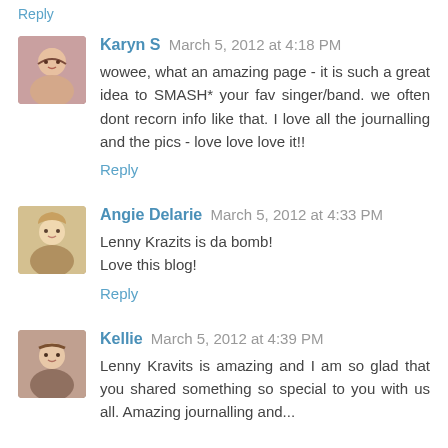Reply
Karyn S  March 5, 2012 at 4:18 PM
wowee, what an amazing page - it is such a great idea to SMASH* your fav singer/band. we often dont recorn info like that. I love all the journalling and the pics - love love love it!!
Reply
Angie Delarie  March 5, 2012 at 4:33 PM
Lenny Krazits is da bomb!
Love this blog!
Reply
Kellie  March 5, 2012 at 4:39 PM
Lenny Kravits is amazing and I am so glad that you shared something so special to you with us all. Amazing journalling and...